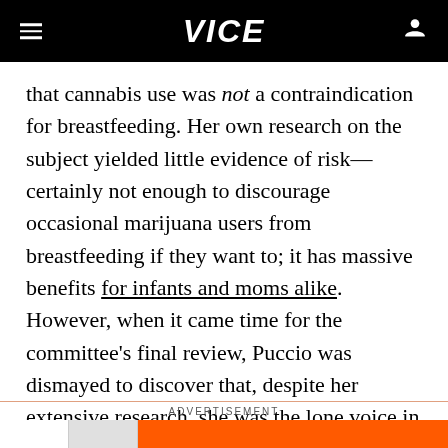VICE
that cannabis use was not a contraindication for breastfeeding. Her own research on the subject yielded little evidence of risk—certainly not enough to discourage occasional marijuana users from breastfeeding if they want to; it has massive benefits for infants and moms alike. However, when it came time for the committee's final review, Puccio was dismayed to discover that, despite her extensive research, she was the lone voice in support of this particular recommendation.
ADVERTISEMENT